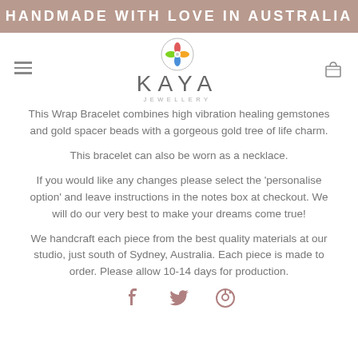HANDMADE WITH LOVE IN AUSTRALIA
[Figure (logo): Kaya Jewellery logo with coloured flower emblem and KAYA JEWELLERY text]
This Wrap Bracelet combines high vibration healing gemstones and gold spacer beads with a gorgeous gold tree of life charm.
This bracelet can also be worn as a necklace.
If you would like any changes please select the 'personalise option' and leave instructions in the notes box at checkout. We will do our very best to make your dreams come true!
We handcraft each piece from the best quality materials at our studio, just south of Sydney, Australia. Each piece is made to order. Please allow 10-14 days for production.
[Figure (illustration): Social media icons: Facebook, Twitter, Pinterest]